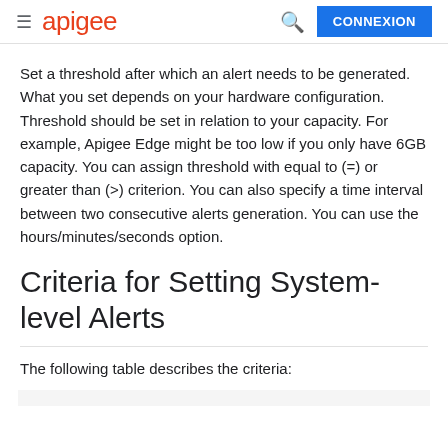apigee  CONNEXION
Set a threshold after which an alert needs to be generated. What you set depends on your hardware configuration. Threshold should be set in relation to your capacity. For example, Apigee Edge might be too low if you only have 6GB capacity. You can assign threshold with equal to (=) or greater than (>) criterion. You can also specify a time interval between two consecutive alerts generation. You can use the hours/minutes/seconds option.
Criteria for Setting System-level Alerts
The following table describes the criteria: